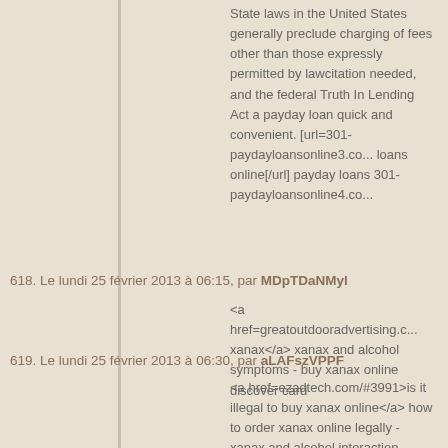State laws in the United States generally preclude charging of fees other than those expressly permitted by lawcitation needed, and the federal Truth In Lending Act a payday loan quick and convenient. [url=301-paydayloansonline3.co... loans online[/url] payday loans 301-paydayloansonline4.co...
618. Le lundi 25 février 2013 à 06:15, par MDpTDaNMyl
<a href=greatoutdooradvertising.c... xanax</a> xanax and alcohol symptoms - buy xanax online discover card
619. Le lundi 25 février 2013 à 06:30, par aLAFszVPPF
<a href=ezadtech.com/#3991>is it illegal to buy xanax online</a> how to order xanax online legally - xanax and alcohol interaction
620. Le lundi 25 février 2013 à 06:31, par QSMXuBqzMP
<a href=watch-21andover-online.co... 21 and over online for free</a> watch 21 and over imax, KYMS, watch 21 and over allmyvideos
621. Le lundi 25 février 2013 à 08:16, par ZOQvoDwQcd